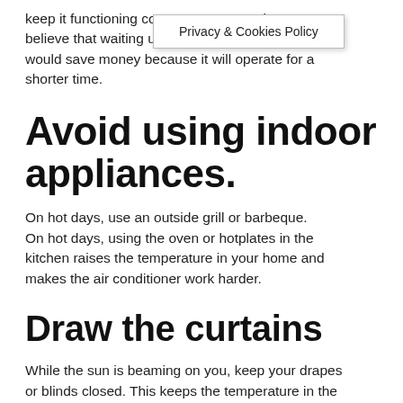keep it functioning co... ...is believe that waiting u... the unit would save money because it will operate for a shorter time.
[Figure (other): Privacy & Cookies Policy tooltip/dropdown overlay]
Avoid using indoor appliances.
On hot days, use an outside grill or barbeque. On hot days, using the oven or hotplates in the kitchen raises the temperature in your home and makes the air conditioner work harder.
Draw the curtains
While the sun is beaming on you, keep your drapes or blinds closed. This keeps the temperature in the